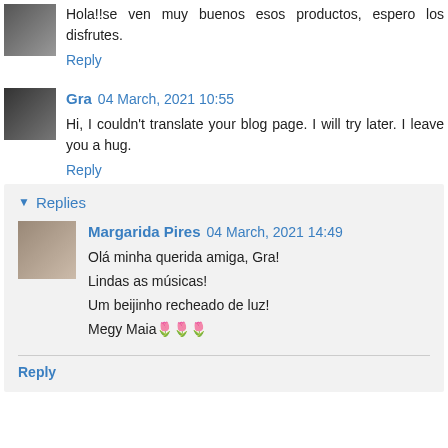Hola!!se ven muy buenos esos productos, espero los disfrutes.
Reply
Gra 04 March, 2021 10:55
Hi, I couldn't translate your blog page. I will try later. I leave you a hug.
Reply
Replies
Margarida Pires 04 March, 2021 14:49
Olá minha querida amiga, Gra!
Lindas as músicas!
Um beijinho recheado de luz!
Megy Maia🌷🌷🌷
Reply